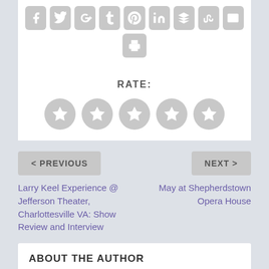[Figure (infographic): Row of social sharing icon buttons (Facebook, Twitter, Google+, Tumblr, Pinterest, LinkedIn, Buffer, StumbleUpon, Email) and a print button below, all with grey rounded square backgrounds and white icons.]
RATE:
[Figure (infographic): Five grey circular star rating buttons in a horizontal row.]
< PREVIOUS
NEXT >
Larry Keel Experience @ Jefferson Theater, Charlottesville VA: Show Review and Interview
May at Shepherdstown Opera House
ABOUT THE AUTHOR
Erin Swaidner